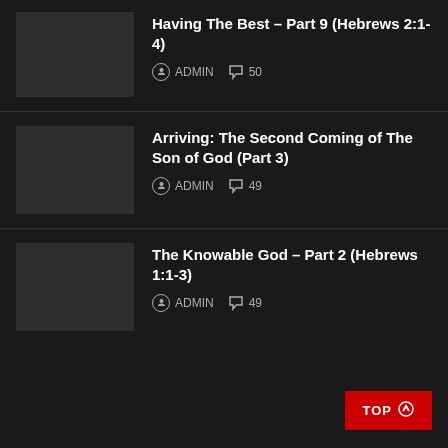Having The Best – Part 9 (Hebrews 2:1-4) | ADMIN | 50
Arriving: The Second Coming of The Son of God (Part 3) | ADMIN | 49
The Knowable God – Part 2 (Hebrews 1:1-3) | ADMIN | 49
TOP ↑